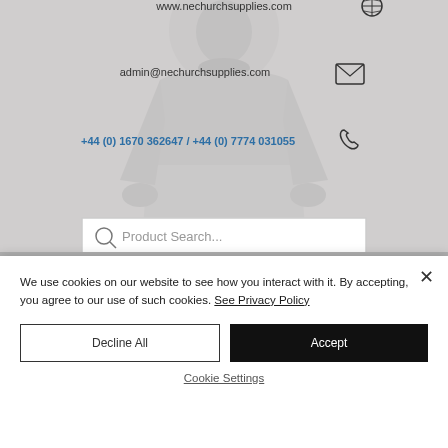[Figure (screenshot): Website header for nechurchsupplies.com showing a faded religious saint illustration background with contact information overlaid: website URL www.nechurchsupplies.com, email admin@nechurchsupplies.com, phone numbers +44 (0) 1670 362647 / +44 (0) 7774 031055, and a product search bar.]
We use cookies on our website to see how you interact with it. By accepting, you agree to our use of such cookies. See Privacy Policy
Decline All
Accept
Cookie Settings